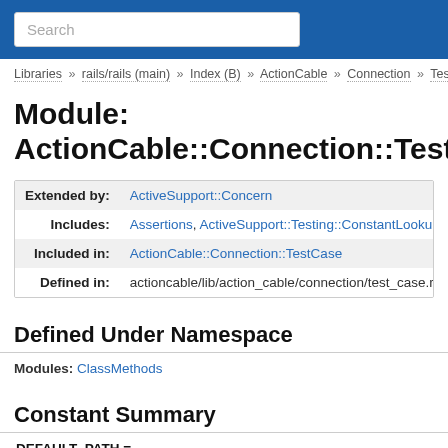Search
Libraries » rails/rails (main) » Index (B) » ActionCable » Connection » TestCase
Module: ActionCable::Connection::TestCase:
|  |  |
| --- | --- |
| Extended by: | ActiveSupport::Concern |
| Includes: | Assertions, ActiveSupport::Testing::ConstantLookup |
| Included in: | ActionCable::Connection::TestCase |
| Defined in: | actioncable/lib/action_cable/connection/test_case.rb |
Defined Under Namespace
Modules: ClassMethods
Constant Summary
DEFAULT_PATH =